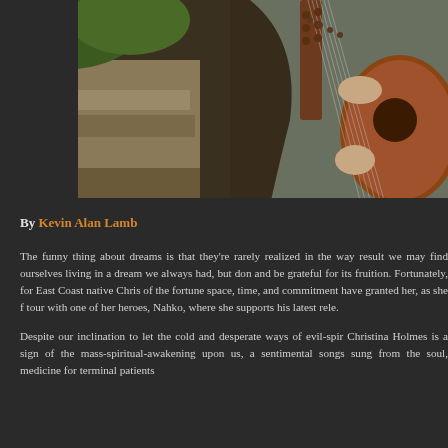[Figure (photo): A woman with long dark hair playing an acoustic guitar outdoors near stone steps and greenery, wearing a grey vest and beaded necklace.]
By Kevin Alan Lamb
The funny thing about dreams is that they're rarely realized in the way we expect, as a result we may find ourselves living in a dream we always had, but don't always stop and be grateful for its fruition. Fortunately, for East Coast native Chris... of the fortune space, time, and commitment have granted her, as she finds herself on tour with one of her heroes, Nahko, where she supports his latest rele...
Despite our inclination to let the cold and desperate ways of evil-spir... Christina Holmes is a sign of the mass-spiritual-awakening upon us, a... sentimental songs sung from the soul, medicine for terminal patients...